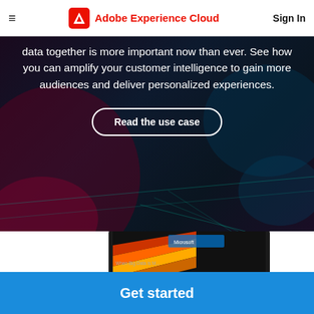Adobe Experience Cloud  Sign In
data together is more important now than ever. See how you can amplify your customer intelligence to gain more audiences and deliver personalized experiences.
[Figure (other): Button with rounded border reading 'Read the use case' on dark hero background]
[Figure (photo): Partial view of a laptop/tablet device with colorful screen showing Microsoft branding and text]
Get started